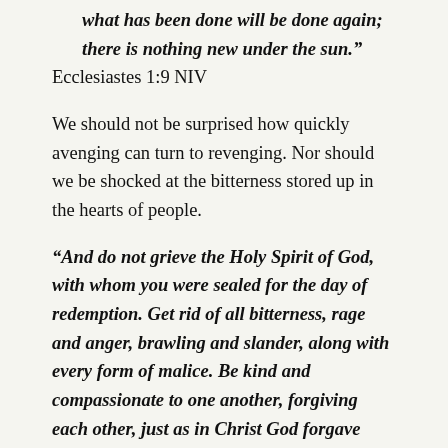what has been done will be done again; there is nothing new under the sun." Ecclesiastes 1:9 NIV
We should not be surprised how quickly avenging can turn to revenging. Nor should we be shocked at the bitterness stored up in the hearts of people.
“And do not grieve the Holy Spirit of God, with whom you were sealed for the day of redemption. Get rid of all bitterness, rage and anger, brawling and slander, along with every form of malice. Be kind and compassionate to one another, forgiving each other, just as in Christ God forgave you.” Ephesians 4:30-32 NIV
We should take a long hard look at ourselves.